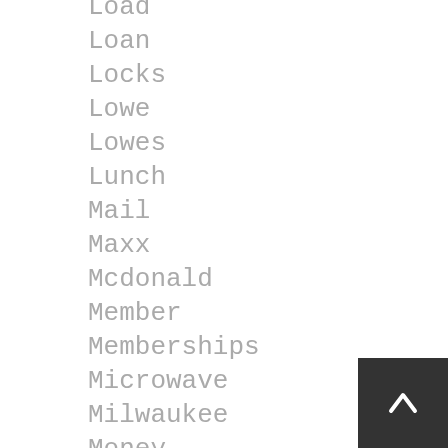Load
Loan
Locks
Lowe
Lowes
Lunch
Mail
Maxx
Mcdonald
Member
Memberships
Microwave
Milwaukee
Money
Moneygram
Music
Musical Instruments
Notarize